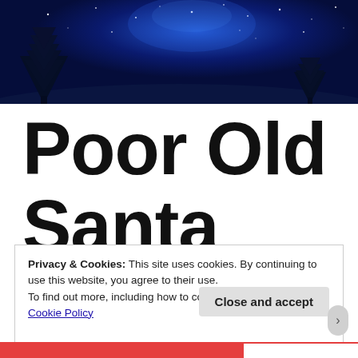[Figure (illustration): Night sky Christmas scene with silhouetted pine trees against a deep blue starry sky with glowing light in the upper center.]
Poor Old Santa
Privacy & Cookies: This site uses cookies. By continuing to use this website, you agree to their use.
To find out more, including how to control cookies, see here: Cookie Policy
Close and accept